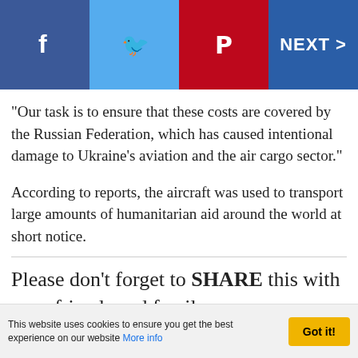"The restoration is estimated to take over 3 billion USD and over five years," the statement said.
"Our task is to ensure that these costs are covered by the Russian Federation, which has caused intentional damage to Ukraine's aviation and the air cargo sector."
According to reports, the aircraft was used to transport large amounts of humanitarian aid around the world at short notice.
Please don't forget to SHARE this with your friends and family.
This website uses cookies to ensure you get the best experience on our website More info